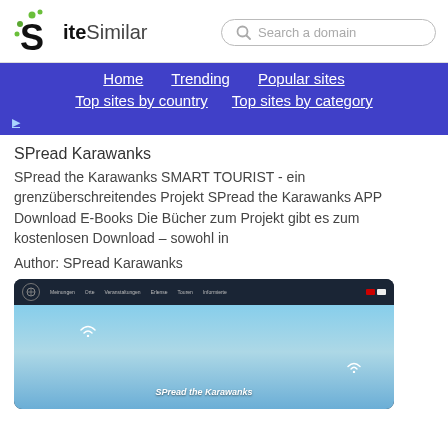[Figure (logo): SiteSimilar logo with green dots and bold S letter]
Search a domain
Home  Trending  Popular sites  Top sites by country  Top sites by category
SPread Karawanks
SPread the Karawanks SMART TOURIST - ein grenzüberschreitendes Projekt SPread the Karawanks APP Download E-Books Die Bücher zum Projekt gibt es zum kostenlosen Download – sowohl in
Author: SPread Karawanks
[Figure (screenshot): Screenshot of the SPread the Karawanks website showing a dark navigation bar and a blue sky background with the text 'SPread the Karawanks']